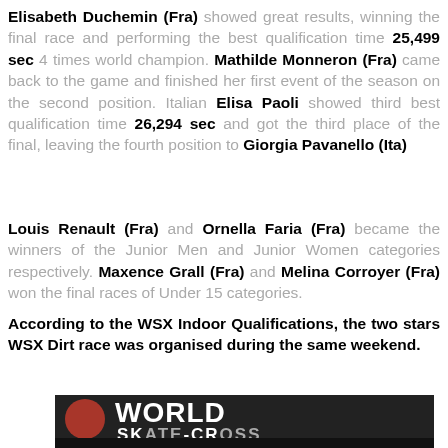Elisabeth Duchemin (Fra) showed great results, winning the final race and performing the best qualification time 25,499 sec 4 times world champion. Mathilde Monneron (Fra) came back to the game and finished her first event of the season on the second position. Italian Elisa Paoli showed third best qualification time 26,294 sec and got the third place of the final, leaving the fourth position to Giorgia Pavanello (Ita)
Louis Renault (Fra) and Ornella Faria (Fra) became the winners of the Junior Men and Junior Women categories respectively. Maxence Grall (Fra) and Melina Corroyer (Fra) won the final races of Under 15 categories.
According to the WSX Indoor Qualifications, the two stars WSX Dirt race was organised during the same weekend.
[Figure (photo): Athletes on a podium in front of a dark banner reading WORLD SKATE-CROSS with a red circular logo on the left]